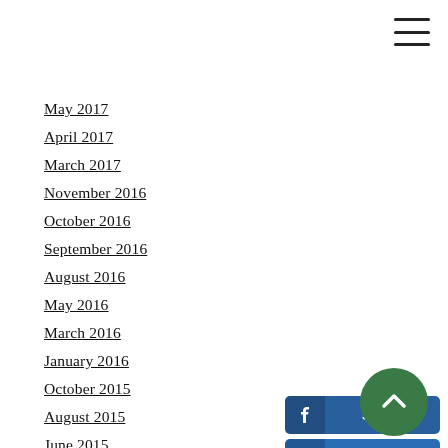May 2017
April 2017
March 2017
November 2016
October 2016
September 2016
August 2016
May 2016
March 2016
January 2016
October 2015
August 2015
June 2015
April 2015
February 2015
January 2015
November 2014